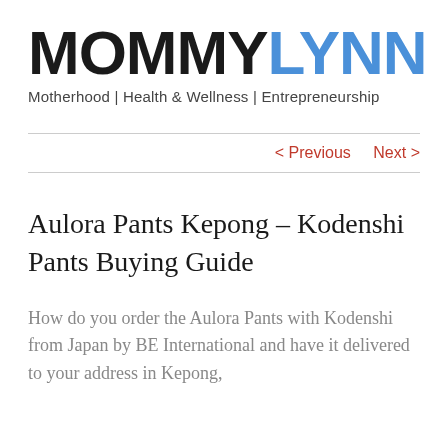MOMMYLYNN
Motherhood | Health & Wellness | Entrepreneurship
< Previous   Next >
Aulora Pants Kepong – Kodenshi Pants Buying Guide
How do you order the Aulora Pants with Kodenshi from Japan by BE International and have it delivered to your address in Kepong,